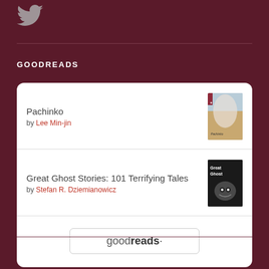[Figure (logo): Twitter bird icon in grey/white at top left]
GOODREADS
Pachinko by Lee Min-jin
Great Ghost Stories: 101 Terrifying Tales by Stefan R. Dziemianowicz
[Figure (logo): goodreads logo button with rounded rectangle border]
ARCHIVES